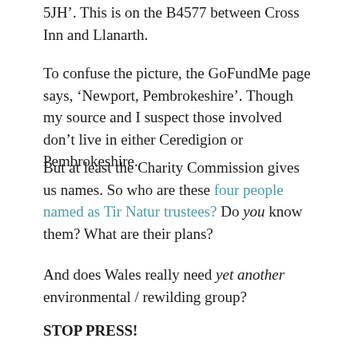5JH'. This is on the B4577 between Cross Inn and Llanarth.
To confuse the picture, the GoFundMe page says, ‘Newport, Pembrokeshire’. Though my source and I suspect those involved don’t live in either Ceredigion or Pembrokeshire.
But at least the Charity Commission gives us names. So who are these four people named as Tir Natur trustees? Do you know them? What are their plans?
And does Wales really need yet another environmental / rewilding group?
STOP PRESS!
My source has now sent me this from a recent release by Tir Natur. Knowing more of such things than I he tells me that the image shows a European bison and a golden eagle. Neither of which of course is native to Wales...